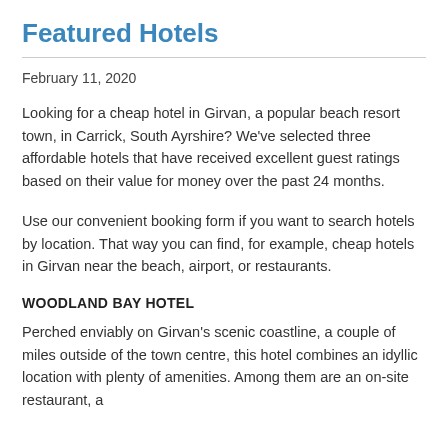Featured Hotels
February 11, 2020
Looking for a cheap hotel in Girvan, a popular beach resort town, in Carrick, South Ayrshire? We've selected three affordable hotels that have received excellent guest ratings based on their value for money over the past 24 months.
Use our convenient booking form if you want to search hotels by location. That way you can find, for example, cheap hotels in Girvan near the beach, airport, or restaurants.
WOODLAND BAY HOTEL
Perched enviably on Girvan's scenic coastline, a couple of miles outside of the town centre, this hotel combines an idyllic location with plenty of amenities. Among them are an on-site restaurant, a